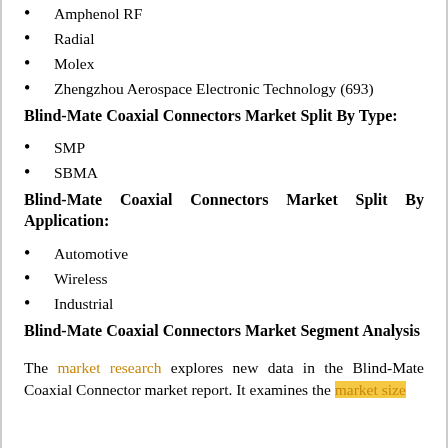Amphenol RF
Radial
Molex
Zhengzhou Aerospace Electronic Technology (693)
Blind-Mate Coaxial Connectors Market Split By Type:
SMP
SBMA
Blind-Mate Coaxial Connectors Market Split By Application:
Automotive
Wireless
Industrial
Blind-Mate Coaxial Connectors Market Segment Analysis
The market research explores new data in the Blind-Mate Coaxial Connector market report. It examines the market size